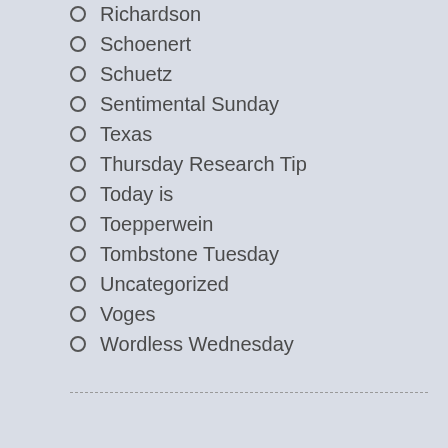Richardson
Schoenert
Schuetz
Sentimental Sunday
Texas
Thursday Research Tip
Today is
Toepperwein
Tombstone Tuesday
Uncategorized
Voges
Wordless Wednesday